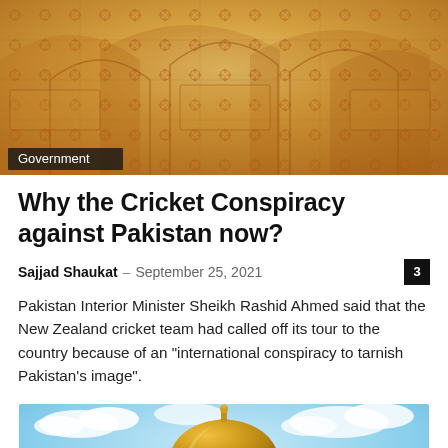[Figure (photo): Interior of an ornate Islamic or Mughal architectural space with colorful painted arches, floral patterns, and decorative ceiling in warm oranges and yellows]
Government
Why the Cricket Conspiracy against Pakistan now?
Sajjad Shaukat – September 25, 2021
Pakistan Interior Minister Sheikh Rashid Ahmed said that the New Zealand cricket team had called off its tour to the country because of an "international conspiracy to tarnish Pakistan's image".
[Figure (photo): Dome of the Rock mosque in Jerusalem with its iconic golden dome against a blue sky with clouds]